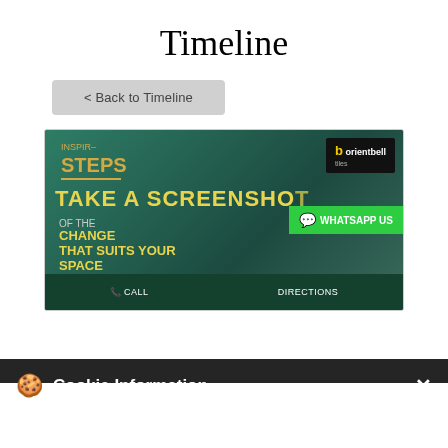Timeline
< Back to Timeline
[Figure (screenshot): OrientBell Tiles Inspir-Steps marketing screenshot with text 'TAKE A SCREENSHOT OF THE CHANGE THAT SUITS YOUR SPACE', WhatsApp Us button, phone/directions bottom bar, and cookie consent overlay]
Cookie Information
On our website, we use services (including from third-party providers) that help us to improve our online presence (optimization of website) and to display content that is geared to their interests. We need your consent before being able to use these services.
I ACCEPT